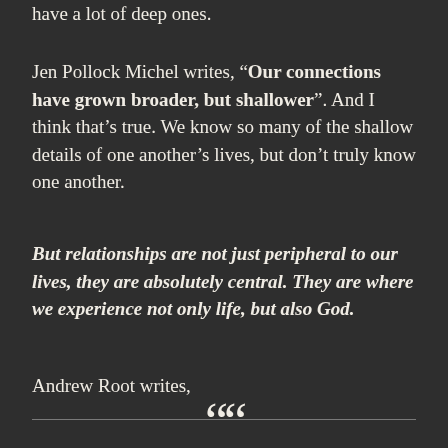have a lot of deep ones.
Jen Pollock Michel writes, “Our connections have grown broader, but shallower”. And I think that’s true. We know so many of the shallow details of one another’s lives, but don’t truly know one another.
But relationships are not just peripheral to our lives, they are absolutely central. They are where we experience not only life, but also God.
Andrew Root writes,